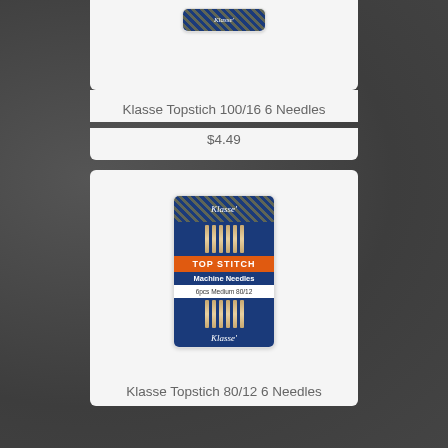[Figure (photo): Product image of Klasse Topstitch 100/16 sewing machine needles package (partially visible at top of page)]
Klasse Topstich 100/16 6 Needles
$4.49
[Figure (photo): Product image of Klasse Top Stitch Machine Needles, 6pcs Medium 80/12 in blue and orange packaging]
Klasse Topstich 80/12 6 Needles